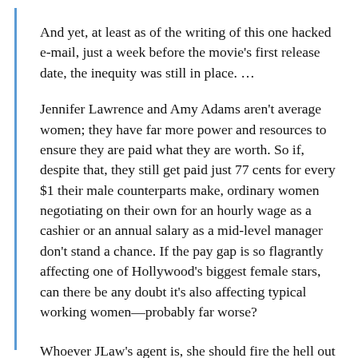And yet, at least as of the writing of this one hacked e-mail, just a week before the movie's first release date, the inequity was still in place. …
Jennifer Lawrence and Amy Adams aren't average women; they have far more power and resources to ensure they are paid what they are worth. So if, despite that, they still get paid just 77 cents for every $1 their male counterparts make, ordinary women negotiating on their own for an hourly wage as a cashier or an annual salary as a mid-level manager don't stand a chance. If the pay gap is so flagrantly affecting one of Hollywood's biggest female stars, can there be any doubt it's also affecting typical working women—probably far worse?
Whoever JLaw's agent is, she should fire the hell out of him. She deserves someone who will get her all